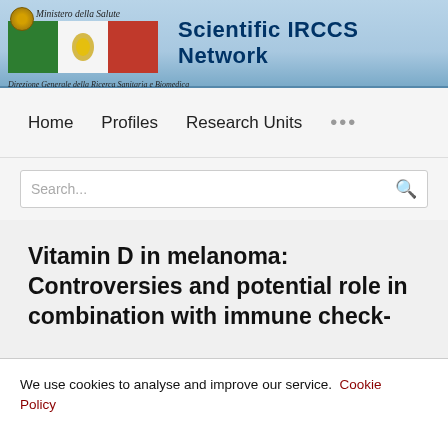Scientific IRCCS Network — Ministero della Salute — Direzione Generale della Ricerca Sanitaria e Biomedica
Home   Profiles   Research Units   ...
Search...
Vitamin D in melanoma: Controversies and potential role in combination with immune check-
We use cookies to analyse and improve our service. Cookie Policy